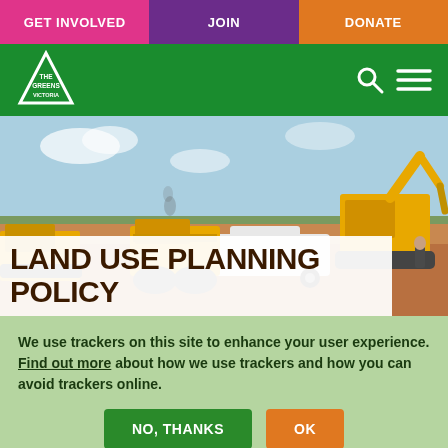GET INVOLVED | JOIN | DONATE
[Figure (logo): The Greens Victoria logo — white triangle with 'THE GREENS VICTORIA' text]
[Figure (photo): Construction site with yellow heavy machinery (excavator, road roller, dump truck) on earthworks under a blue sky]
LAND USE PLANNING POLICY
We use trackers on this site to enhance your user experience. Find out more about how we use trackers and how you can avoid trackers online.
NO, THANKS | OK